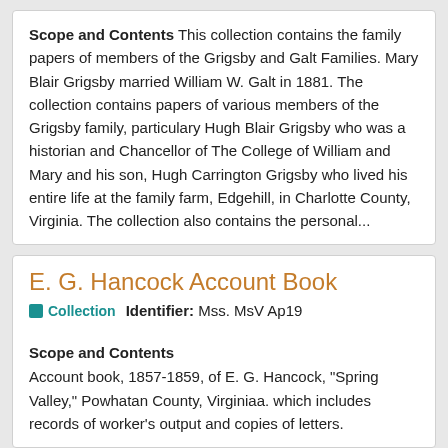Scope and Contents This collection contains the family papers of members of the Grigsby and Galt Families. Mary Blair Grigsby married William W. Galt in 1881. The collection contains papers of various members of the Grigsby family, particulary Hugh Blair Grigsby who was a historian and Chancellor of The College of William and Mary and his son, Hugh Carrington Grigsby who lived his entire life at the family farm, Edgehill, in Charlotte County, Virginia. The collection also contains the personal...
E. G. Hancock Account Book
Collection   Identifier: Mss. MsV Ap19
Scope and Contents
Account book, 1857-1859, of E. G. Hancock, "Spring Valley," Powhatan County, Virginiaa. which includes records of worker's output and copies of letters.